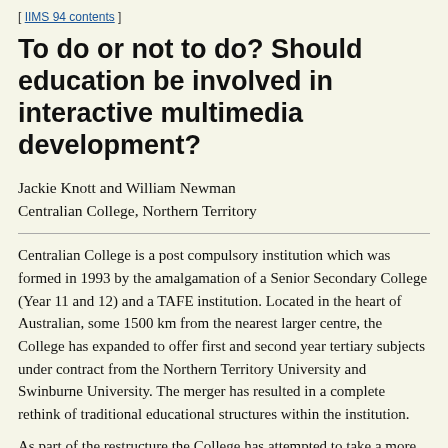[ IIMS 94 contents ]
To do or not to do? Should education be involved in interactive multimedia development?
Jackie Knott and William Newman
Centralian College, Northern Territory
Centralian College is a post compulsory institution which was formed in 1993 by the amalgamation of a Senior Secondary College (Year 11 and 12) and a TAFE institution. Located in the heart of Australian, some 1500 km from the nearest larger centre, the College has expanded to offer first and second year tertiary subjects under contract from the Northern Territory University and Swinburne University. The merger has resulted in a complete rethink of traditional educational structures within the institution.
As part of the restructure the College has attempted to take a more corporate approach to education. This has involved creating a strategic plan incorporating a mission statement and a number of goals. One of these goals has been for the College to establish a